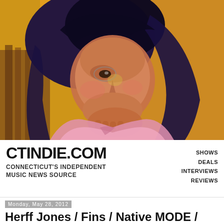[Figure (illustration): Illustrated portrait of a young woman with long dark hair resting her chin on her hand, wearing a pink jacket, painted in warm yellow-orange and pink tones]
CTINDIE.COM
CONNECTICUT'S INDEPENDENT MUSIC NEWS SOURCE
SHOWS DEALS INTERVIEWS REVIEWS
Monday, May 28, 2012
Herff Jones / Fins / Native MODE / The Grey Rambler at El N' Gee 6/2